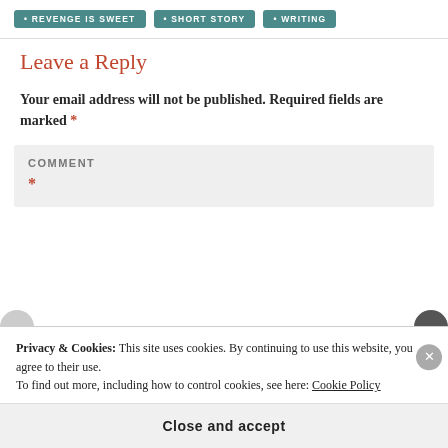• REVENGE IS SWEET
• SHORT STORY
• WRITING
Leave a Reply
Your email address will not be published. Required fields are marked *
COMMENT *
Privacy & Cookies: This site uses cookies. By continuing to use this website, you agree to their use. To find out more, including how to control cookies, see here: Cookie Policy
Close and accept